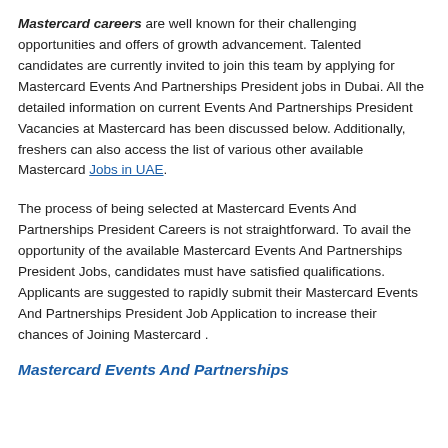Mastercard careers are well known for their challenging opportunities and offers of growth advancement. Talented candidates are currently invited to join this team by applying for Mastercard Events And Partnerships President jobs in Dubai. All the detailed information on current Events And Partnerships President Vacancies at Mastercard has been discussed below. Additionally, freshers can also access the list of various other available Mastercard Jobs in UAE.
The process of being selected at Mastercard Events And Partnerships President Careers is not straightforward. To avail the opportunity of the available Mastercard Events And Partnerships President Jobs, candidates must have satisfied qualifications. Applicants are suggested to rapidly submit their Mastercard Events And Partnerships President Job Application to increase their chances of Joining Mastercard .
Mastercard Events And Partnerships